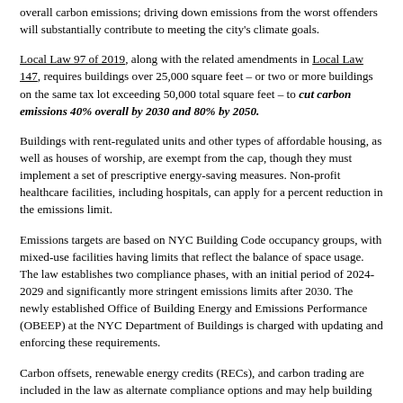overall carbon emissions; driving down emissions from the worst offenders will substantially contribute to meeting the city's climate goals.
Local Law 97 of 2019, along with the related amendments in Local Law 147, requires buildings over 25,000 square feet – or two or more buildings on the same tax lot exceeding 50,000 total square feet – to cut carbon emissions 40% overall by 2030 and 80% by 2050.
Buildings with rent-regulated units and other types of affordable housing, as well as houses of worship, are exempt from the cap, though they must implement a set of prescriptive energy-saving measures. Non-profit healthcare facilities, including hospitals, can apply for a percent reduction in the emissions limit.
Emissions targets are based on NYC Building Code occupancy groups, with mixed-use facilities having limits that reflect the balance of space usage. The law establishes two compliance phases, with an initial period of 2024-2029 and significantly more stringent emissions limits after 2030. The newly established Office of Building Energy and Emissions Performance (OBEEP) at the NYC Department of Buildings is charged with updating and enforcing these requirements.
Carbon offsets, renewable energy credits (RECs), and carbon trading are included in the law as alternate compliance options and may help building owners meet the emissions targets as they work to implement necessary upgrades. Hardship waivers, as well as emissions limit adjustments for buildings facing outsized emissions reductions, are also included in the legislation to ease the way forward in challenging circumstances.